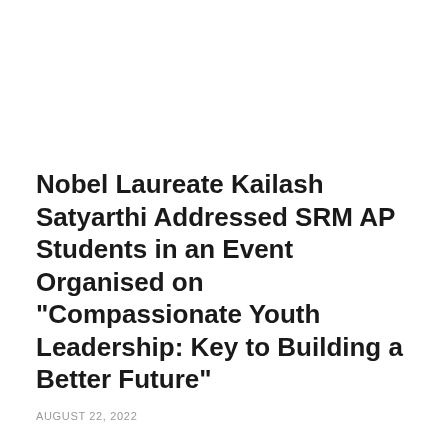Nobel Laureate Kailash Satyarthi Addressed SRM AP Students in an Event Organised on "Compassionate Youth Leadership: Key to Building a Better Future"
AUGUST 22, 2022